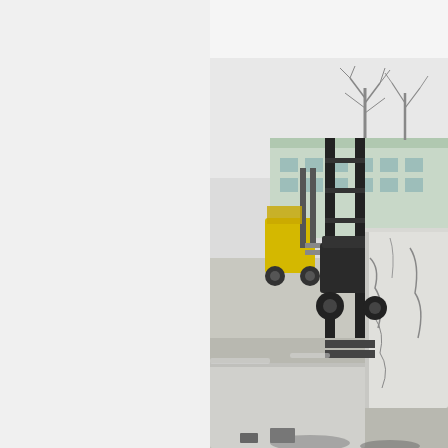[Figure (photo): A forklift carrying large white concrete blocks in an outdoor industrial yard. A second yellow forklift is visible behind. A green and white building and bare winter trees are visible in the background.]